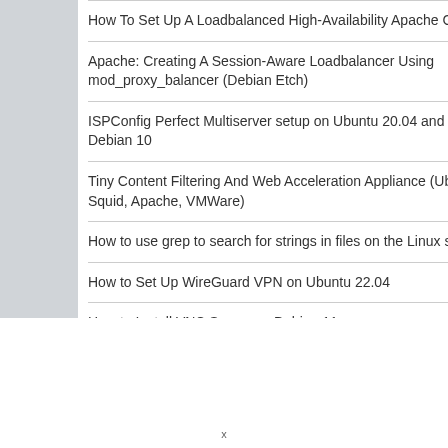How To Set Up A Loadbalanced High-Availability Apache Cluster
Apache: Creating A Session-Aware Loadbalancer Using mod_proxy_balancer (Debian Etch)
ISPConfig Perfect Multiserver setup on Ubuntu 20.04 and Debian 10
Tiny Content Filtering And Web Acceleration Appliance (Ubuntu, Squid, Apache, VMWare)
How to use grep to search for strings in files on the Linux shell
How to Set Up WireGuard VPN on Ubuntu 22.04
How to Install VNC Server on Debian 11
How to Install Bitwarden Password Manager on Ubuntu 22.04